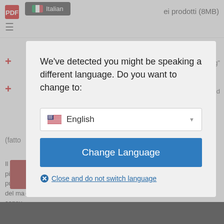[Figure (screenshot): Background webpage in Italian with a language-change modal dialog overlay. The modal prompts the user to switch to English, with a dropdown showing 'English' with a US flag, a 'Change Language' blue button, and a 'Close and do not switch language' link. The background page shows Italian content including 'ei prodotti (8MB)', an Italian flag badge labeled 'Italian', menu icons, plus icons in red, partial Italian text, and a 'Richiesta di preventivo' red button at the bottom.]